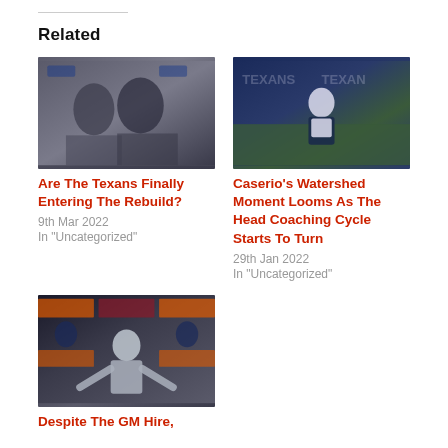Related
[Figure (photo): Two men at a press conference with Houston Texans branding in background]
Are The Texans Finally Entering The Rebuild?
9th Mar 2022
In "Uncategorized"
[Figure (photo): Man in white long-sleeve shirt and dark vest standing on football field with Texans branding]
Caserio's Watershed Moment Looms As The Head Coaching Cycle Starts To Turn
29th Jan 2022
In "Uncategorized"
[Figure (photo): Man at press conference with Dunkin and Zudy branding in background, Patriots logos visible]
Despite The GM Hire,